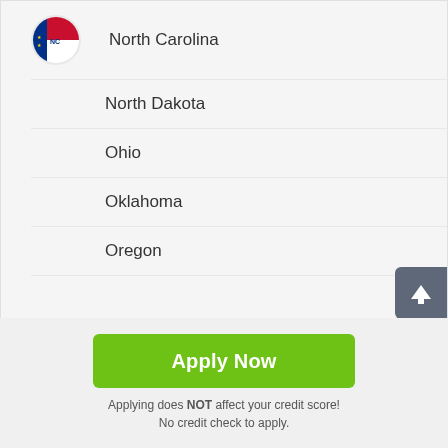North Carolina
North Dakota
Ohio
Oklahoma
Oregon
Apply Now
Applying does NOT affect your credit score! No credit check to apply.